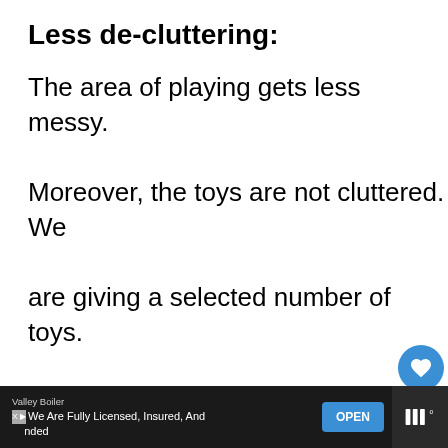Less de-cluttering:
The area of playing gets less messy. Moreover, the toys are not cluttered. We are giving a selected number of toys.
[Figure (screenshot): UI widget showing a heart/like icon in blue circle with count '1' below it, and a share icon below that.]
[Figure (screenshot): What's Next widget showing a dog thumbnail with text 'WHAT'S NEXT → Can Dog Toys Make Dogs...']
[Figure (screenshot): Advertisement bar at bottom: Valley Boiler - We Are Fully Licensed, Insured, And Bonded - with OPEN button]